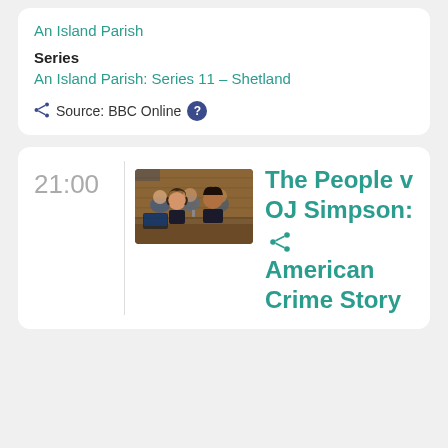An Island Parish
Series
An Island Parish: Series 11 – Shetland
Source: BBC Online
21:00
[Figure (photo): Two people in a courtroom setting, a woman with curly hair and a man in a suit seated at a desk]
The People v OJ Simpson: American Crime Story